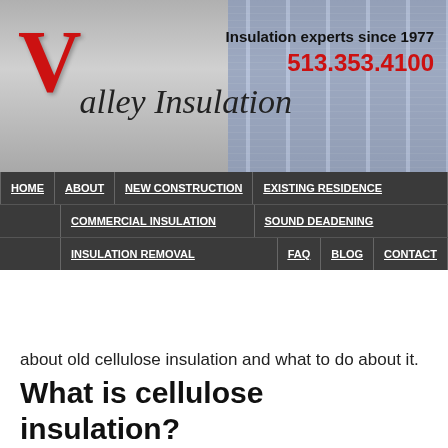[Figure (logo): Valley Insulation company logo with large red V and italic text, plus contact info: Insulation experts since 1977, 513.353.4100]
HOME | ABOUT | NEW CONSTRUCTION | EXISTING RESIDENCE | COMMERCIAL INSULATION | SOUND DEADENING | INSULATION REMOVAL | FAQ | BLOG | CONTACT
about old cellulose insulation and what to do about it.
What is cellulose insulation?
Cellulose insulation is made from shredded, recycled materials, and is a form of blow-in insulation. Shredded, the insulation is a form of